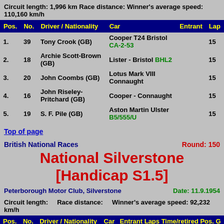Circuit length: 1,996 km Race distance: Winner's average speed: 110,160 km/h
| Pos. | No. | Driver / Nationality | Car | Entrant | Laps |
| --- | --- | --- | --- | --- | --- |
| 1. | 39 | Tony Crook (GB) | Cooper T24 Bristol CA-2-53 |  | 15 |
| 2. | 18 | Archie Scott-Brown (GB) | Lister - Bristol BHL2 |  | 15 |
| 3. | 20 | John Coombs (GB) | Lotus Mark VIII Connaught |  | 15 |
| 4. | 16 | John Riseley-Pritchard (GB) | Cooper - Connaught |  | 15 |
| 5. | 19 | S. F. Pile (GB) | Aston Martin Ulster B5/555/U |  | 15 |
Top of page
British National Races
Round: 150
National Silverstone [Handicap S1.5]
Peterborough Motor Club, Silverstone
Date: 11.9.1954
Circuit length:    Race distance:    Winner's average speed: 92,232 km/h
| Pos. | No. | Driver / Nationality | Car | Entrant | Laps | Time/retired | Pos. | G |
| --- | --- | --- | --- | --- | --- | --- | --- | --- |